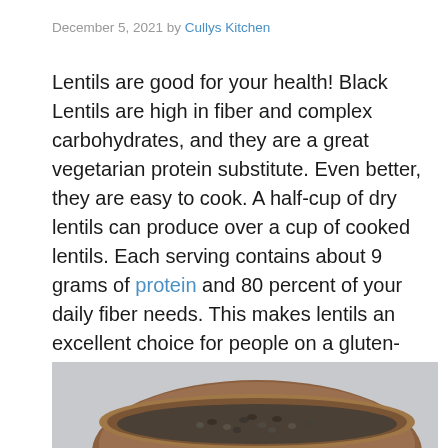December 5, 2021 by Cullys Kitchen
Lentils are good for your health! Black Lentils are high in fiber and complex carbohydrates, and they are a great vegetarian protein substitute. Even better, they are easy to cook. A half-cup of dry lentils can produce over a cup of cooked lentils. Each serving contains about 9 grams of protein and 80 percent of your daily fiber needs. This makes lentils an excellent choice for people on a gluten-free diet. Increased fiber intake has been associated with lower blood cholesterol levels and colon cancer protection.
[Figure (photo): A wooden bowl filled with black lentils, photographed from above on a light gray surface]